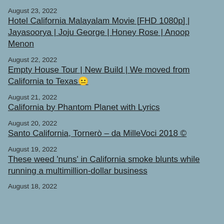August 23, 2022
Hotel California Malayalam Movie [FHD 1080p] | Jayasoorya | Joju George | Honey Rose | Anoop Menon
August 22, 2022
Empty House Tour | New Build | We moved from California to Texas😐
August 21, 2022
California by Phantom Planet with Lyrics
August 20, 2022
Santo California, Tornerò – da MilleVoci 2018 ©
August 19, 2022
These weed 'nuns' in California smoke blunts while running a multimillion-dollar business
August 18, 2022